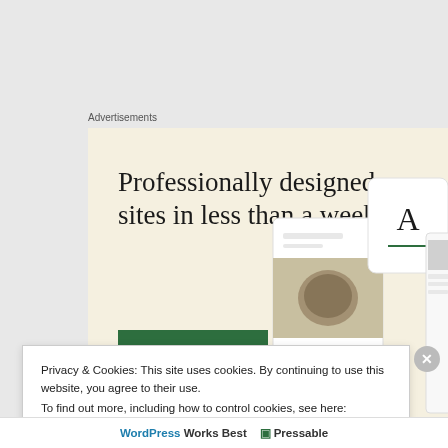Advertisements
[Figure (illustration): Advertisement banner with cream/beige background showing 'Professionally designed sites in less than a week' headline with a green 'Explore options' button and mockup website screenshots on the right side.]
Privacy & Cookies: This site uses cookies. By continuing to use this website, you agree to their use.
To find out more, including how to control cookies, see here:
Cookie Policy
Close and accept
WordPress Works Best  |  Pressable